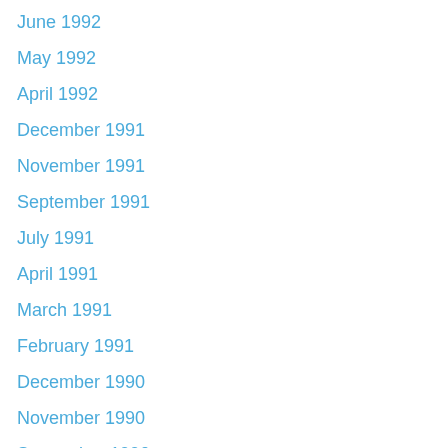June 1992
May 1992
April 1992
December 1991
November 1991
September 1991
July 1991
April 1991
March 1991
February 1991
December 1990
November 1990
September 1990
August 1989
April 1989
December 1988
November 1988
September 1988
August 1988
July 1988